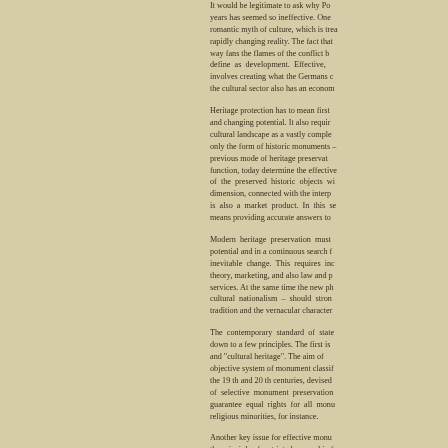It would be legitimate to ask why Po... years has seemed so ineffective. One romantic myth of culture, which is trea rapidly changing reality. The fact that way fans the flames of the conflict b define as development. Effective, involves creating what the Germans c the cultural sector also has an econom
Heritage protection has to mean first and changing potential. It also requir cultural landscape as a vastly comple only the form of historic monuments – previous mode of heritage preservat function, today determine the effective of the preserved historic objects wi dimension, connected with the interp is also a market product. In this se means providing accurate answers to
Modern heritage preservation must potential and in a continuous search f inevitable change. This requires inc theory, marketing, and also law and p services. At the same time the new ph cultural nationalism – should stron tradition and the vernacular character
The contemporary standard of state down to a few principles. The first is and "cultural heritage". The aim of objective system of monument classif the 19 th and 20 th centuries, devised of selective monument preservation guarantee equal rights for all monu religious minorities, for instance.
Another key issue for effective monu the principle of restricted ownership fo ownership must not, however, violate the public interest, the state must al additional obligations that this imp